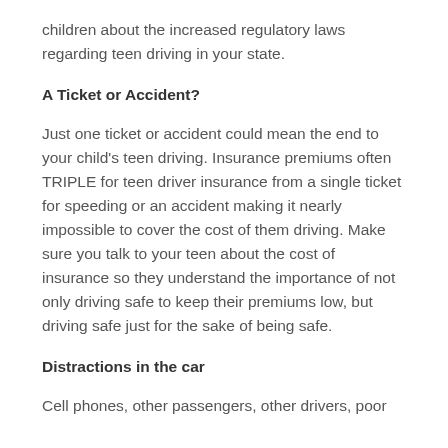children about the increased regulatory laws regarding teen driving in your state.
A Ticket or Accident?
Just one ticket or accident could mean the end to your child's teen driving. Insurance premiums often TRIPLE for teen driver insurance from a single ticket for speeding or an accident making it nearly impossible to cover the cost of them driving. Make sure you talk to your teen about the cost of insurance so they understand the importance of not only driving safe to keep their premiums low, but driving safe just for the sake of being safe.
Distractions in the car
Cell phones, other passengers, other drivers, poor